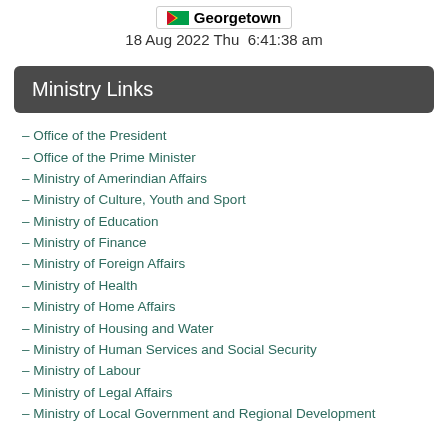Georgetown  18 Aug 2022 Thu  6:41:38 am
Ministry Links
– Office of the President
– Office of the Prime Minister
– Ministry of Amerindian Affairs
– Ministry of Culture, Youth and Sport
– Ministry of Education
– Ministry of Finance
– Ministry of Foreign Affairs
– Ministry of Health
– Ministry of Home Affairs
– Ministry of Housing and Water
– Ministry of Human Services and Social Security
– Ministry of Labour
– Ministry of Legal Affairs
– Ministry of Local Government and Regional Development